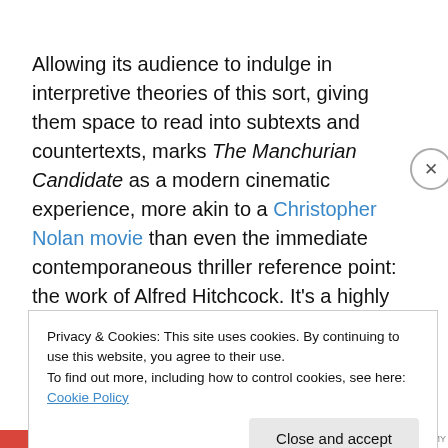Allowing its audience to indulge in interpretive theories of this sort, giving them space to read into subtexts and countertexts, marks The Manchurian Candidate as a modern cinematic experience, more akin to a Christopher Nolan movie than even the immediate contemporaneous thriller reference point: the work of Alfred Hitchcock. It's a highly intelligent and slightly disorienting film with a wry
Privacy & Cookies: This site uses cookies. By continuing to use this website, you agree to their use.
To find out more, including how to control cookies, see here: Cookie Policy